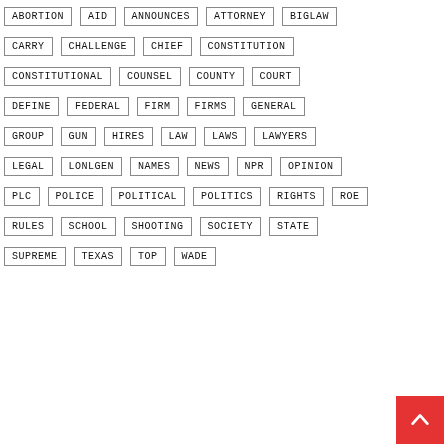ABORTION, AID, ANNOUNCES, ATTORNEY, BIGLAW, CARRY, CHALLENGE, CHIEF, CONSTITUTION, CONSTITUTIONAL, COUNSEL, COUNTY, COURT, DEFINE, FEDERAL, FIRM, FIRMS, GENERAL, GROUP, GUN, HIRES, LAW, LAWS, LAWYERS, LEGAL, LONLGEN, NAMES, NEWS, NPR, OPINION, PLC, POLICE, POLITICAL, POLITICS, RIGHTS, ROE, RULES, SCHOOL, SHOOTING, SOCIETY, STATE, SUPREME, TEXAS, TOP, WADE
[Figure (other): Back to top button (red square with white upward chevron arrow)]